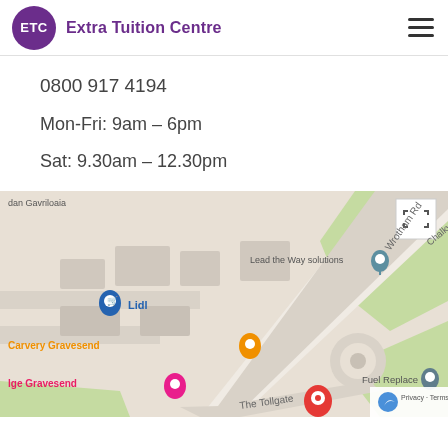ETC Extra Tuition Centre
0800 917 4194
Mon-Fri: 9am – 6pm
Sat: 9.30am – 12.30pm
[Figure (map): Google Maps embed showing the area around Wrotham Rd, Gravesend. Visible landmarks include Lead the Way solutions, Lidl, Carvery Gravesend, Ige Gravesend, Fuel Replace, The Tollgate, and a red location pin at the bottom. Road labels include Wrotham Rd, Chalky Bank, and The Tollgate.]